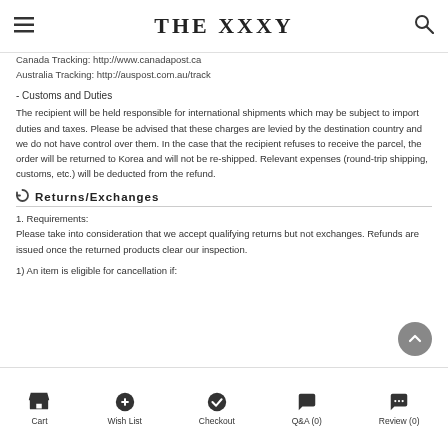THE XXXY
Canada Tracking: http://www.canadapost.ca
Australia Tracking: http://auspost.com.au/track
- Customs and Duties
The recipient will be held responsible for international shipments which may be subject to import duties and taxes. Please be advised that these charges are levied by the destination country and we do not have control over them. In the case that the recipient refuses to receive the parcel, the order will be returned to Korea and will not be re-shipped. Relevant expenses (round-trip shipping, customs, etc.) will be deducted from the refund.
Returns/Exchanges
1. Requirements:
Please take into consideration that we accept qualifying returns but not exchanges. Refunds are issued once the returned products clear our inspection.
1) An item is eligible for cancellation if:
Cart   Wish List   Checkout   Q&A (0)   Review (0)